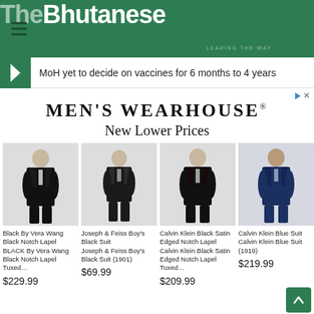The Bhutanese — LEADING THE WAY
MoH yet to decide on vaccines for 6 months to 4 years
[Figure (illustration): Men's Wearhouse advertisement with logo, tagline 'New Lower Prices', and four male models wearing suits/tuxedos]
Black By Vera Wang Black Notch Lapel
BLACK By Vera Wang Black Notch Lapel Tuxed…
$229.99
Joseph & Feiss Boy's Black Suit
Joseph & Feiss Boy's Black Suit (1901)
$69.99
Calvin Klein Black Satin Edged Notch Lapel
Calvin Klein Black Satin Edged Notch Lapel Tuxed…
$209.99
Calvin Klein Blue Suit
Calvin Klein Blue Suit (1919)
$219.99